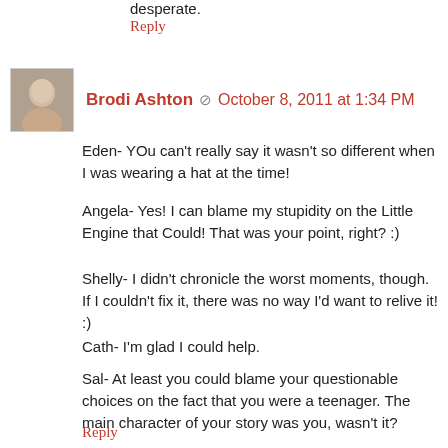desperate.
Reply
Brodi Ashton ✏ October 8, 2011 at 1:34 PM
Eden- YOu can't really say it wasn't so different when I was wearing a hat at the time!
Angela- Yes! I can blame my stupidity on the Little Engine that Could! That was your point, right? :)
Shelly- I didn't chronicle the worst moments, though. If I couldn't fix it, there was no way I'd want to relive it! :)
Cath- I'm glad I could help.
Sal- At least you could blame your questionable choices on the fact that you were a teenager. The main character of your story was you, wasn't it?
Reply